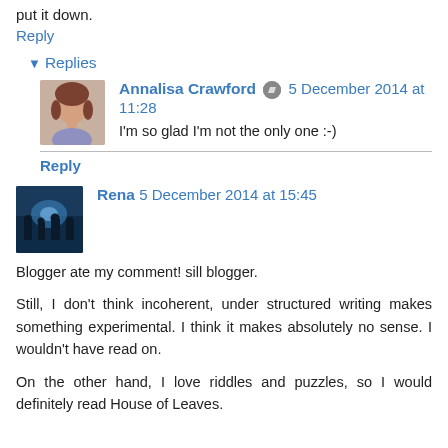put it down.
Reply
▾ Replies
Annalisa Crawford 5 December 2014 at 11:28
I'm so glad I'm not the only one :-)
Reply
Rena 5 December 2014 at 15:45
Blogger ate my comment! sill blogger.
Still, I don't think incoherent, under structured writing makes something experimental. I think it makes absolutely no sense. I wouldn't have read on.
On the other hand, I love riddles and puzzles, so I would definitely read House of Leaves.